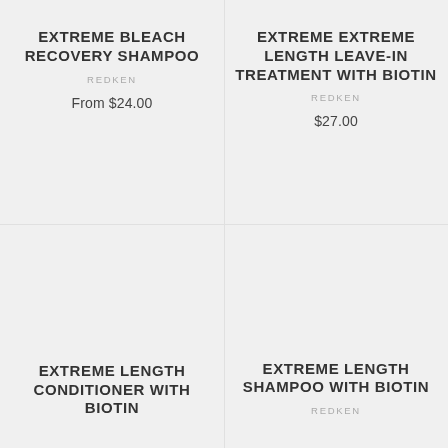EXTREME BLEACH RECOVERY SHAMPOO
REDKEN
From $24.00
EXTREME EXTREME LENGTH LEAVE-IN TREATMENT WITH BIOTIN
REDKEN
$27.00
EXTREME LENGTH CONDITIONER WITH BIOTIN
EXTREME LENGTH SHAMPOO WITH BIOTIN
REDKEN